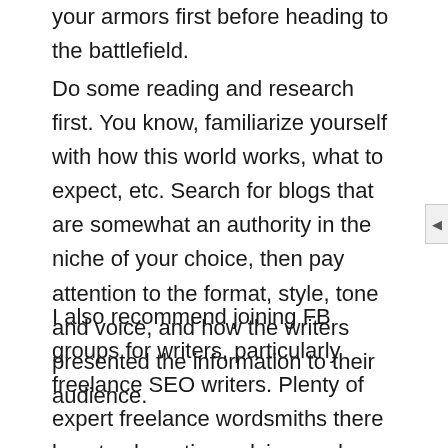your armors first before heading to the battlefield.
Do some reading and research first. You know, familiarize yourself with how this world works, what to expect, etc. Search for blogs that are somewhat an authority in the niche of your choice, then pay attention to the format, style, tone and voice, and how the writers presented the information to their audience.
I also recommend joining FB groups for writers, particularly freelance SEO writers. Plenty of expert freelance wordsmiths there love to share tips, advice, and even experiences. These groups are meant to be a community of support for writers like